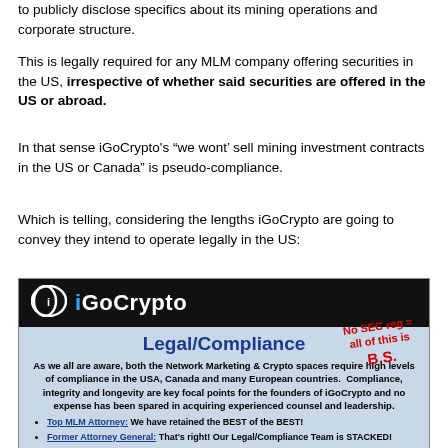to publicly disclose specifics about its mining operations and corporate structure.
This is legally required for any MLM company offering securities in the US, irrespective of whether said securities are offered in the US or abroad.
In that sense iGoCrypto's “we wont’ sell mining investment contracts in the US or Canada” is pseudo-compliance.
Which is telling, considering the lengths iGoCrypto are going to convey they intend to operate legally in the US:
[Figure (screenshot): iGoCrypto Legal/Compliance promotional image with dark header showing iGoCrypto logo, and body text about compliance in USA/Canada/Europe. Handwritten red annotation reads 'No SEC reg = all of this is B.S.' Bullet points mention Top MLM Attorney and Former Attorney General.]